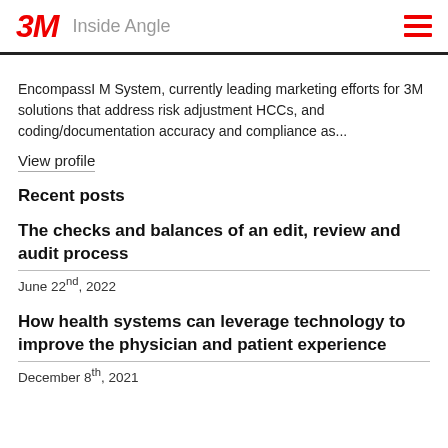3M Inside Angle
EncompassI M System, currently leading marketing efforts for 3M solutions that address risk adjustment HCCs, and coding/documentation accuracy and compliance as...
View profile
Recent posts
The checks and balances of an edit, review and audit process
June 22nd, 2022
How health systems can leverage technology to improve the physician and patient experience
December 8th, 2021